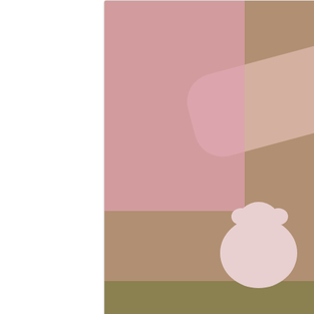[Figure (photo): A baby in a floral onesie lying on a carpet being held by an older child playing doctor checkup, with stuffed animals and toys visible]
Summer playing dr. checkup with Larkyn - love her face!
[Figure (photo): A baby in a pink polka-dot outfit sitting in a red bucket swing at a playground with sand underneath]